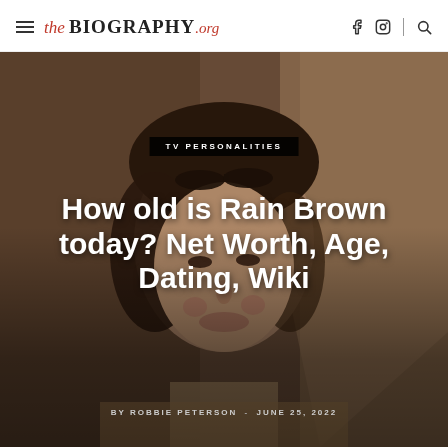the BIOGRAPHY.org
[Figure (photo): Young woman with short dark hair and sunglasses on top of her head, looking slightly downward, warm brown background tones. Overlaid text: category badge 'TV PERSONALITIES', title 'How old is Rain Brown today? Net Worth, Age, Dating, Wiki', byline 'BY ROBBIE PETERSON - JUNE 25, 2022']
How old is Rain Brown today? Net Worth, Age, Dating, Wiki
BY ROBBIE PETERSON - JUNE 25, 2022